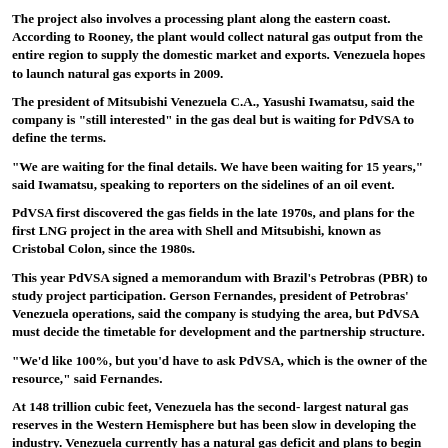The project also involves a processing plant along the eastern coast. According to Rooney, the plant would collect natural gas output from the entire region to supply the domestic market and exports. Venezuela hopes to launch natural gas exports in 2009.
The president of Mitsubishi Venezuela C.A., Yasushi Iwamatsu, said the company is "still interested" in the gas deal but is waiting for PdVSA to define the terms.
"We are waiting for the final details. We have been waiting for 15 years," said Iwamatsu, speaking to reporters on the sidelines of an oil event.
PdVSA first discovered the gas fields in the late 1970s, and plans for the first LNG project in the area with Shell and Mitsubishi, known as Cristobal Colon, since the 1980s.
This year PdVSA signed a memorandum with Brazil's Petrobras (PBR) to study project participation. Gerson Fernandes, president of Petrobras' Venezuela operations, said the company is studying the area, but PdVSA must decide the timetable for development and the partnership structure.
"We'd like 100%, but you'd have to ask PdVSA, which is the owner of the resource," said Fernandes.
At 148 trillion cubic feet, Venezuela has the second- largest natural gas reserves in the Western Hemisphere but has been slow in developing the industry. Venezuela currently has a natural gas deficit and plans to begin importing the fuel from neighboring Colombia until domestic production